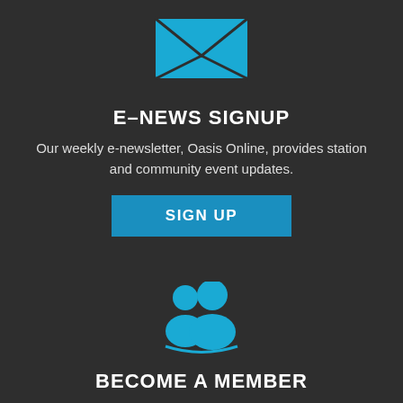[Figure (illustration): Blue envelope icon on dark background]
E-NEWS SIGNUP
Our weekly e-newsletter, Oasis Online, provides station and community event updates.
SIGN UP
[Figure (illustration): Blue group of people / members icon on dark background]
BECOME A MEMBER
Join the growing family of people who believe that music